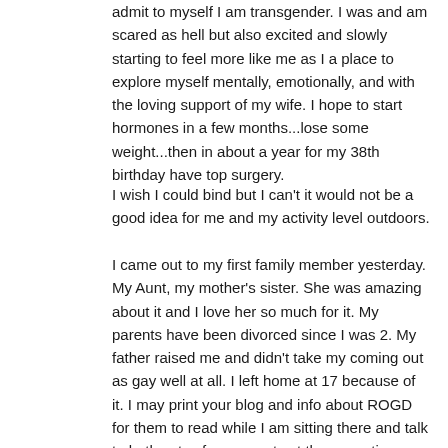admit to myself I am transgender. I was and am scared as hell but also excited and slowly starting to feel more like me as I a place to explore myself mentally, emotionally, and with the loving support of my wife. I hope to start hormones in a few months...lose some weight...then in about a year for my 38th birthday have top surgery.
I wish I could bind but I can't it would not be a good idea for me and my activity level outdoors.
I came out to my first family member yesterday. My Aunt, my mother's sister. She was amazing about it and I love her so much for it. My parents have been divorced since I was 2. My father raised me and didn't take my coming out as gay well at all. I left home at 17 because of it. I may print your blog and info about ROGD for them to read while I am sitting there and talk to both sets of my parents at the same time.